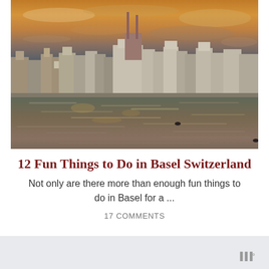[Figure (photo): Panoramic photo of Basel, Switzerland skyline at sunset/dusk showing historic buildings and a cathedral with spires reflected in the Rhine river, with dramatic orange and gray cloudy sky]
12 Fun Things to Do in Basel Switzerland
Not only are there more than enough fun things to do in Basel for a ...
17 COMMENTS